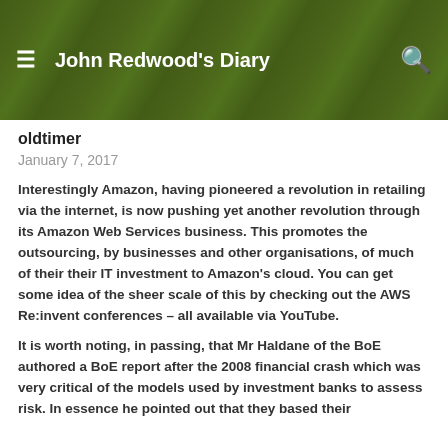John Redwood's Diary
oldtimer
January 7, 2017
Interestingly Amazon, having pioneered a revolution in retailing via the internet, is now pushing yet another revolution through its Amazon Web Services business. This promotes the outsourcing, by businesses and other organisations, of much of their their IT investment to Amazon's cloud. You can get some idea of the sheer scale of this by checking out the AWS Re:invent conferences – all available via YouTube.
It is worth noting, in passing, that Mr Haldane of the BoE authored a BoE report after the 2008 financial crash which was very critical of the models used by investment banks to assess risk. In essence he pointed out that they based their